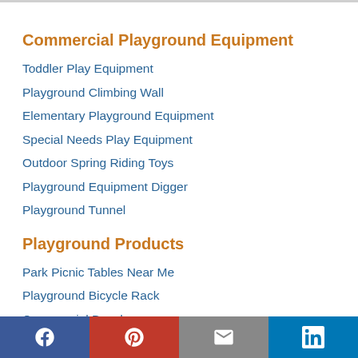Commercial Playground Equipment
Toddler Play Equipment
Playground Climbing Wall
Elementary Playground Equipment
Special Needs Play Equipment
Outdoor Spring Riding Toys
Playground Equipment Digger
Playground Tunnel
Playground Products
Park Picnic Tables Near Me
Playground Bicycle Rack
Commercial Bench
Park Bbq Suppliers
Residential Playground Shade